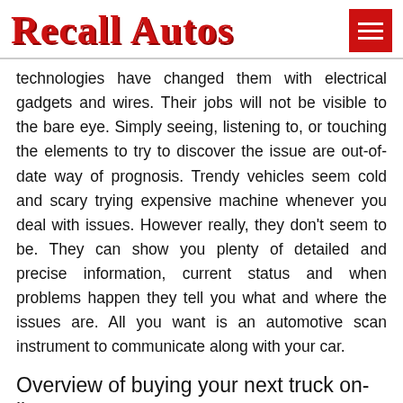Recall Autos
technologies have changed them with electrical gadgets and wires. Their jobs will not be visible to the bare eye. Simply seeing, listening to, or touching the elements to try to discover the issue are out-of-date way of prognosis. Trendy vehicles seem cold and scary trying expensive machine whenever you deal with issues. However really, they don't seem to be. They can show you plenty of detailed and precise information, current status and when problems happen they tell you what and where the issues are. All you want is an automotive scan instrument to communicate along with your car.
Overview of buying your next truck on-li...